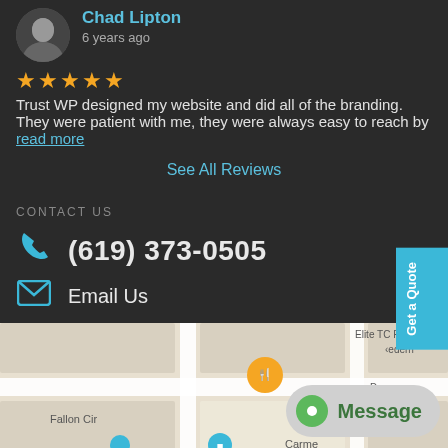Chad Lipton
6 years ago
Trust WP designed my website and did all of the branding. They were patient with me, they were always easy to reach by read more
See All Reviews
CONTACT US
(619) 373-0505
Email Us
[Figure (map): Google Maps screenshot showing local area with street names including Fallon Cir, Carme... and a restaurant/food pin marker]
Get a Quote
Message